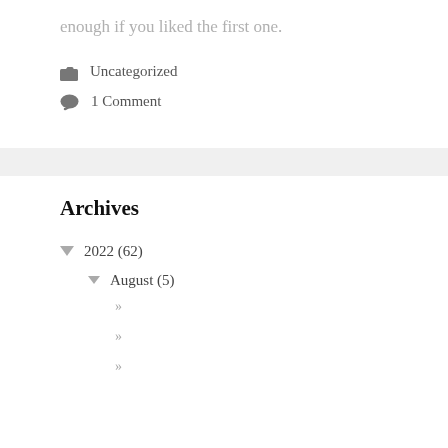enough if you liked the first one.
📁 Uncategorized
💬 1 Comment
Archives
▼ 2022 (62)
▼ August (5)
»
»
»